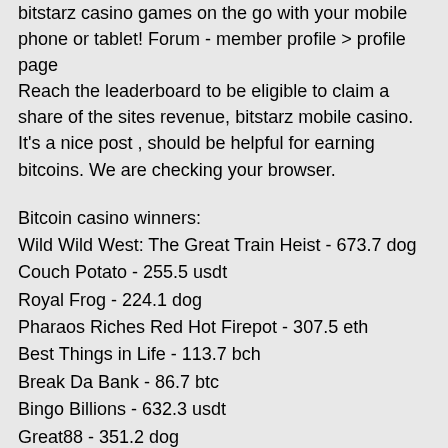bitstarz casino games on the go with your mobile phone or tablet! Forum - member profile &gt; profile page
Reach the leaderboard to be eligible to claim a share of the sites revenue, bitstarz mobile casino. It's a nice post , should be helpful for earning bitcoins. We are checking your browser.
Bitcoin casino winners:
Wild Wild West: The Great Train Heist - 673.7 dog
Couch Potato - 255.5 usdt
Royal Frog - 224.1 dog
Pharaos Riches Red Hot Firepot - 307.5 eth
Best Things in Life - 113.7 bch
Break Da Bank - 86.7 btc
Bingo Billions - 632.3 usdt
Great88 - 351.2 dog
Monster Munchies - 505.4 btc
Robin Hood - 77.4 ltc
Vikings Fun - 625.5 usdt